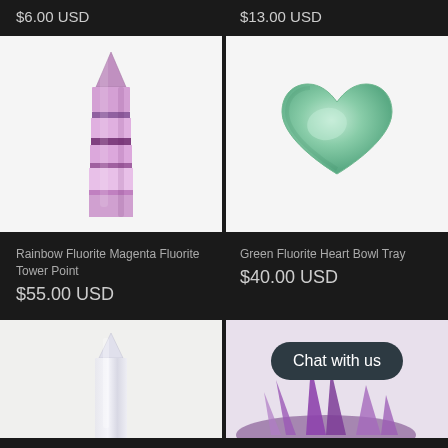$6.00 USD
$13.00 USD
[Figure (photo): Rainbow Fluorite Magenta Fluorite Tower Point crystal - tall purple and white striped crystal tower on white background]
[Figure (photo): Green Fluorite Heart Bowl Tray - green heart-shaped polished stone on white background]
Rainbow Fluorite Magenta Fluorite Tower Point
$55.00 USD
Green Fluorite Heart Bowl Tray
$40.00 USD
[Figure (photo): Crystal tower point on light background - partial view]
[Figure (photo): Purple amethyst crystal cluster with Chat with us button overlay]